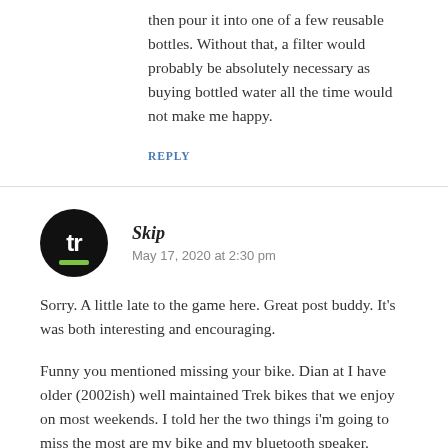then pour it into one of a few reusable bottles. Without that, a filter would probably be absolutely necessary as buying bottled water all the time would not make me happy.
REPLY
[Figure (logo): Round black avatar with white 'tr' initials and a green bar underneath]
Skip
May 17, 2020 at 2:30 pm
Sorry. A little late to the game here. Great post buddy. It's was both interesting and encouraging.
Funny you mentioned missing your bike. Dian at I have older (2002ish) well maintained Trek bikes that we enjoy on most weekends. I told her the two things i'm going to miss the most are my bike and my bluetooth speaker. Those tinny sounding little speakers on my laptop aren't